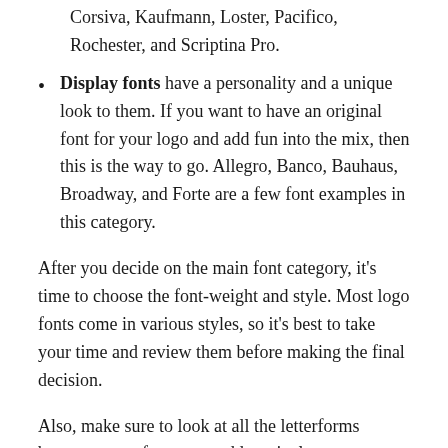Corsiva, Kaufmann, Loster, Pacifico, Rochester, and Scriptina Pro.
Display fonts have a personality and a unique look to them. If you want to have an original font for your logo and add fun into the mix, then this is the way to go. Allegro, Banco, Bauhaus, Broadway, and Forte are a few font examples in this category.
After you decide on the main font category, it’s time to choose the font-weight and style. Most logo fonts come in various styles, so it’s best to take your time and review them before making the final decision.
Also, make sure to look at all the letterforms because some fonts may add particular characteristics to a few letters.
How you combine the logo elements depends on the type of